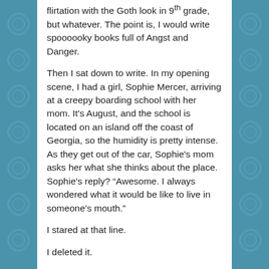flirtation with the Goth look in 9th grade, but whatever. The point is, I would write spoooooky books full of Angst and Danger.

Then I sat down to write. In my opening scene, I had a girl, Sophie Mercer, arriving at a creepy boarding school with her mom. It's August, and the school is located on an island off the coast of Georgia, so the humidity is pretty intense. As they get out of the car, Sophie's mom asks her what she thinks about the place. Sophie's reply? “Awesome. I always wondered what it would be like to live in someone's mouth.”

I stared at that line.

I deleted it.

I wrote it again.

I looked at it some more.